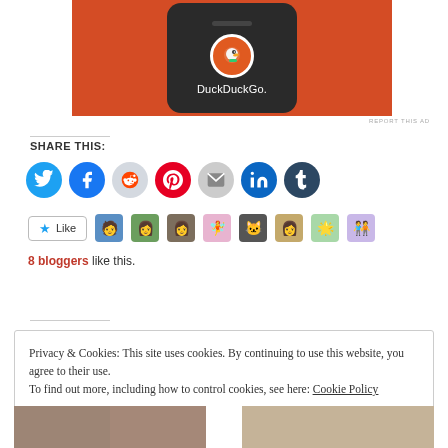[Figure (photo): DuckDuckGo app on a smartphone against orange background]
REPORT THIS AD
SHARE THIS:
[Figure (infographic): Row of social media share icons: Twitter, Facebook, Reddit, Pinterest, Email, LinkedIn, Tumblr]
[Figure (infographic): Like button with star and 8 blogger avatar thumbnails]
8 bloggers like this.
Privacy & Cookies: This site uses cookies. By continuing to use this website, you agree to their use.
To find out more, including how to control cookies, see here: Cookie Policy
[Figure (photo): Bottom partial images]
[Figure (photo): Bottom partial images right]